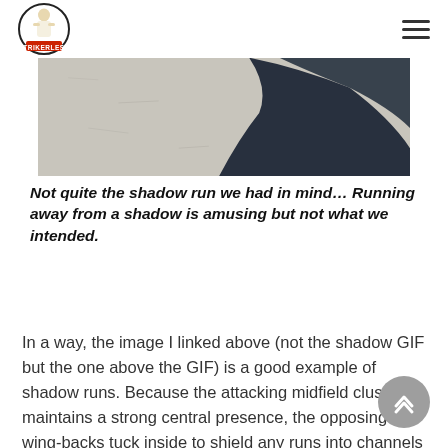Strikerless logo and navigation menu
[Figure (photo): Shadow of a person running on a pale textured surface with dark shadow cast to the right side]
Not quite the shadow run we had in mind… Running away from a shadow is amusing but not what we intended.
In a way, the image I linked above (not the shadow GIF but the one above the GIF) is a good example of shadow runs. Because the attacking midfield cluster maintains a strong central presence, the opposing wing-backs tuck inside to shield any runs into channels by the shadow strikers. This means the wingbacks have to vacate